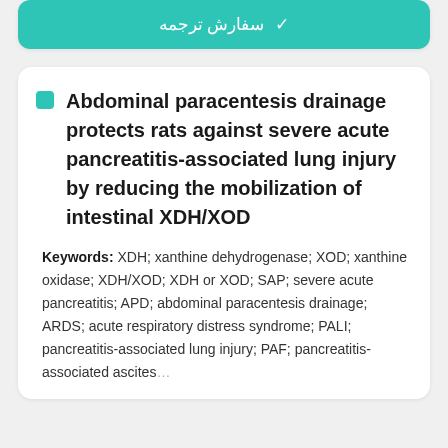✓ سفارش ترجمه
Abdominal paracentesis drainage protects rats against severe acute pancreatitis-associated lung injury by reducing the mobilization of intestinal XDH/XOD
Keywords: XDH; xanthine dehydrogenase; XOD; xanthine oxidase; XDH/XOD; XDH or XOD; SAP; severe acute pancreatitis; APD; abdominal paracentesis drainage; ARDS; acute respiratory distress syndrome; PALI; pancreatitis-associated lung injury; PAF; pancreatitis-associated ascites